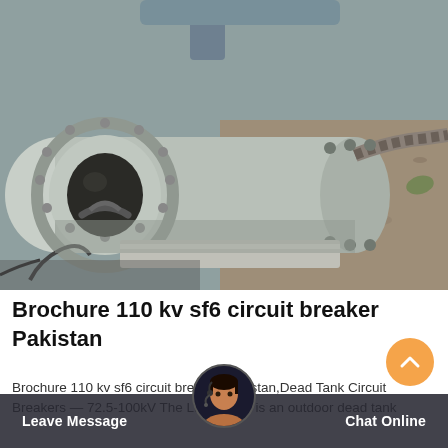[Figure (photo): Close-up photograph of an SF6 circuit breaker component lying on the ground, showing a large flanged cylindrical pipe section with a circular opening, bolts around the flange, and mechanical fittings. The background shows gravel and industrial setting.]
Brochure 110 kv sf6 circuit breaker Pakistan
Brochure 110 kv sf6 circuit breaker Pakistan,Dead Tank Circuit Breakers — 72.5-100kV The LW24-72.5 is an outdoor dead tank